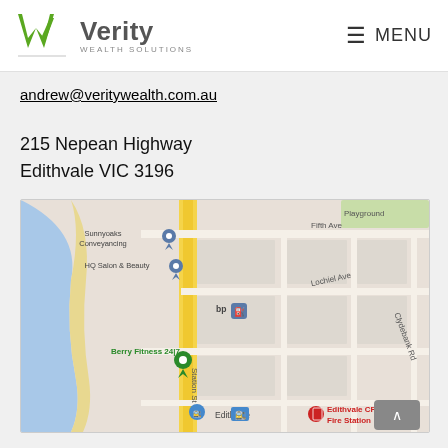Verity Wealth Solutions — MENU
andrew@veritywealth.com.au
215 Nepean Highway
Edithvale VIC 3196
[Figure (map): Google Map screenshot showing 215 Nepean Highway, Edithvale VIC 3196. Map shows Station St running vertically, with landmarks including Sunnyoaks Conveyancing, HQ Salon & Beauty, Berry Fitness 24|7, bp fuel station, Edithvale train station, Edithvale CFA Fire Station, and street names Fifth Ave, Lochiel Ave, Clydebank Rd, and Playground area. Water/bay visible on left side.]